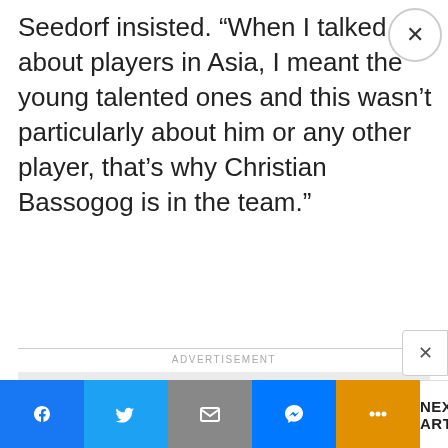Seedorf insisted. “When I talked about players in Asia, I meant the young talented ones and this wasn’t particularly about him or any other player, that’s why Christian Bassogog is in the team.”
ADVERTISEMENT
[Figure (other): Gray advertisement placeholder box]
NEXT ARTICLE >